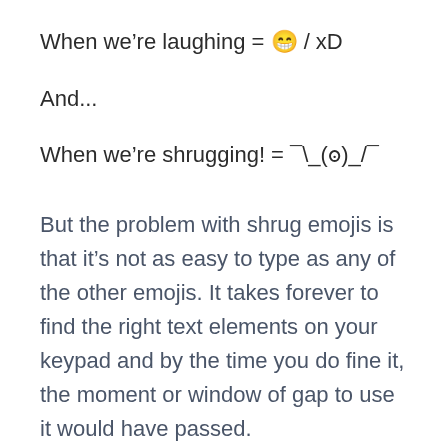When we're laughing = 😁 / xD
And...
When we're shrugging! = ¯\_(ツ)_/¯
But the problem with shrug emojis is that it's not as easy to type as any of the other emojis. It takes forever to find the right text elements on your keypad and by the time you do fine it, the moment or window of gap to use it would have passed.